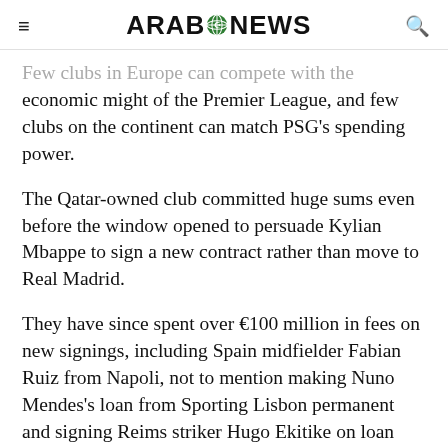Arab News
Few clubs in Europe can compete with the economic might of the Premier League, and few clubs on the continent can match PSG's spending power.
The Qatar-owned club committed huge sums even before the window opened to persuade Kylian Mbappe to sign a new contract rather than move to Real Madrid.
They have since spent over €100 million in fees on new signings, including Spain midfielder Fabian Ruiz from Napoli, not to mention making Nuno Mendes's loan from Sporting Lisbon permanent and signing Reims striker Hugo Ekitike on loan with an option to buy at the end of the season for reported €35 million.